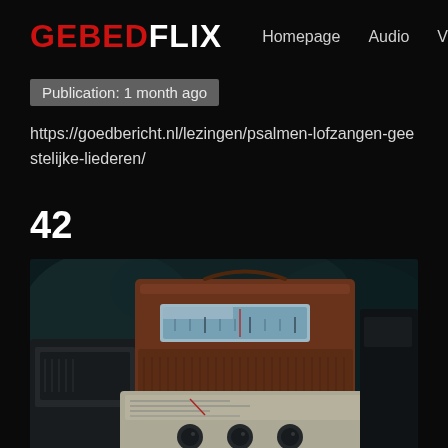GEBEDFLIX  Homepage  Audio  Video  Mo
Publication: 1 month ago
https://goedbericht.nl/lezingen/psalmen-lofzangen-geestelijke-liederen/
42
[Figure (photo): Vintage radios photographed close-up, showing a brown/orange transistor radio with display window, a cream-colored AM/FM receiver with multiple tuning dials and knobs, and partial views of other vintage radio equipment. Dark, moody photography with teal/dark tones in background.]